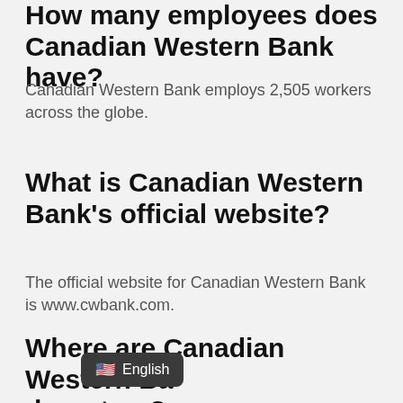How many employees does Canadian Western Bank have?
Canadian Western Bank employs 2,505 workers across the globe.
What is Canadian Western Bank's official website?
The official website for Canadian Western Bank is www.cwbank.com.
Where are Canadian Western Bank's headquarters?